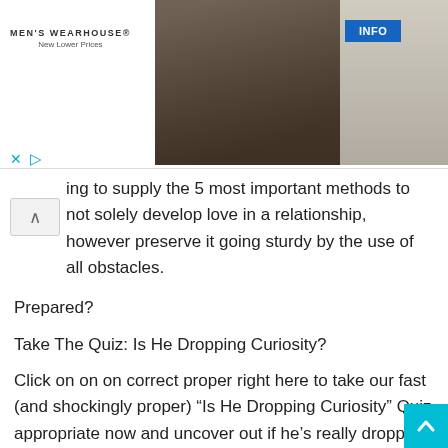[Figure (photo): Men's Wearhouse advertisement banner showing a couple in formal wear and a man in a suit, with an INFO button and ad controls]
ing to supply the 5 most important methods to not solely develop love in a relationship, however preserve it going sturdy by the use of all obstacles.
Prepared?
Take The Quiz: Is He Dropping Curiosity?
Click on on on correct proper right here to take our fast (and shockingly proper) “Is He Dropping Curiosity” Quiz appropriate now and uncover out if he’s really dropping curiosity in you…
1. Make Constructive You’re Acceptable With Every Fully totally different